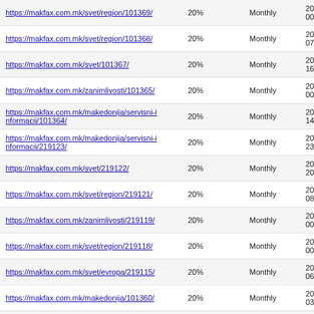| URL | Priority | Change Frequency | Last Modified |
| --- | --- | --- | --- |
| https://makfax.com.mk/svet/region/101369/ | 20% | Monthly | 2001-0 00:00 |
| https://makfax.com.mk/svet/region/101368/ | 20% | Monthly | 2016- 07:06 |
| https://makfax.com.mk/svet/101367/ | 20% | Monthly | 2016- 16:34 |
| https://makfax.com.mk/zanimlivosti/101365/ | 20% | Monthly | 2001-0 00:00 |
| https://makfax.com.mk/makedonija/servisni-informacii/101364/ | 20% | Monthly | 2016- 14:54 |
| https://makfax.com.mk/makedonija/servisni-informacii/219123/ | 20% | Monthly | 2016- 23:54 |
| https://makfax.com.mk/svet/219122/ | 20% | Monthly | 2016- 20:45 |
| https://makfax.com.mk/svet/region/219121/ | 20% | Monthly | 2016- 08:51 |
| https://makfax.com.mk/zanimlivosti/219119/ | 20% | Monthly | 2001-0 00:00 |
| https://makfax.com.mk/svet/region/219118/ | 20% | Monthly | 2001-0 00:00 |
| https://makfax.com.mk/svet/evropa/219115/ | 20% | Monthly | 2016- 06:32 |
| https://makfax.com.mk/makedonija/101360/ | 20% | Monthly | 2016- 03:24 |
| https://makfax.com.mk/crna-hronika/219114/ | 20% | Monthly | 2001-0 00:00 |